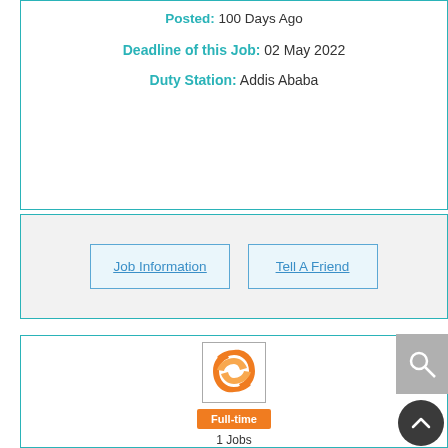Posted: 100 Days Ago
Deadline of this Job: 02 May 2022
Duty Station: Addis Ababa
Job Information
Tell A Friend
[Figure (logo): Orange circular logo mark on white background with border]
Full-time
1 Jobs